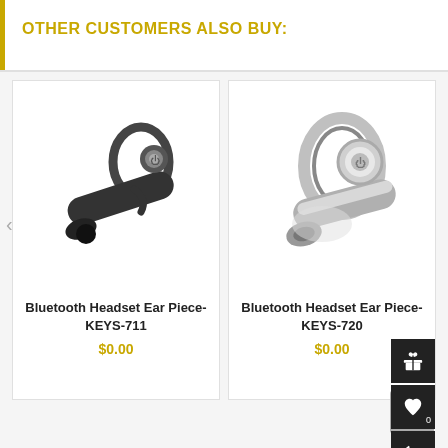OTHER CUSTOMERS ALSO BUY:
[Figure (photo): Black Bluetooth headset earpiece product photo (KEYS-711)]
Bluetooth Headset Ear Piece- KEYS-711
$0.00
[Figure (photo): Silver Bluetooth headset earpiece product photo (KEYS-720)]
Bluetooth Headset Ear Piece- KEYS-720
$0.00